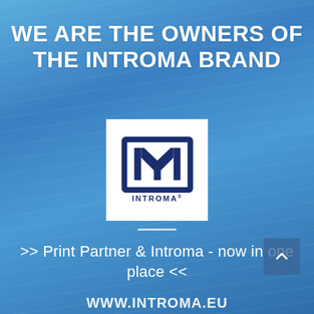WE ARE THE OWNERS OF THE INTROMA BRAND
[Figure (logo): INTROMA brand logo — navy blue square bracket frame with stylized 'M' inside, and 'INTROMA®' text below, on white background]
>> Print Partner & Introma - now in one place <<
WWW.INTROMA.EU